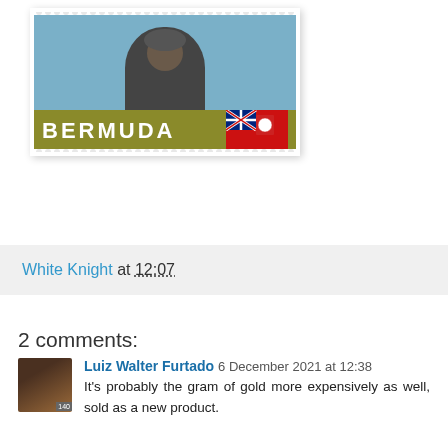[Figure (photo): Bermuda postage stamp showing a figure against a sky-blue background with a gold bar labeled BERMUDA and a red flag with Union Jack in the corner, with perforated edges]
White Knight at 12:07
2 comments:
Luiz Walter Furtado 6 December 2021 at 12:38
It's probably the gram of gold more expensively as well, sold as a new product.